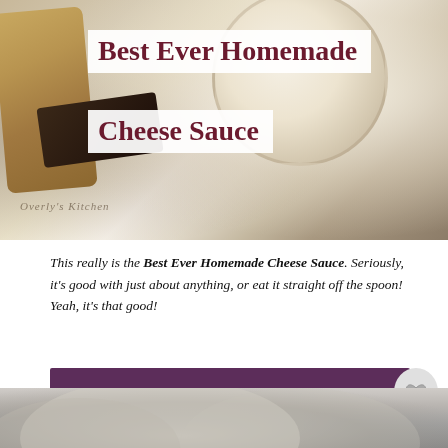[Figure (photo): Top-down photo of homemade cheese sauce in a bowl with crackers, with title text overlaid on white background boxes]
Best Ever Homemade Cheese Sauce
This really is the Best Ever Homemade Cheese Sauce. Seriously, it's good with just about anything, or eat it straight off the spoon! Yeah, it's that good!
GET THE RECIPE
[Figure (photo): Partial bottom photo, blurred background with what appears to be a food item]